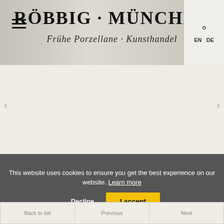[Figure (screenshot): Header banner of Röbbig München antique porcelain dealer website with decorative background showing porcelain figurines and chandeliers]
RÖBBIG · MÜNCHEN
Frühe Porzellane · Kunsthandel
[Figure (photo): Empty light beige carousel area with left and right navigation arrows]
This website uses cookies to ensure you get the best experience on our website. Learn more
Decline
I accept
Back to list
Previous
Next